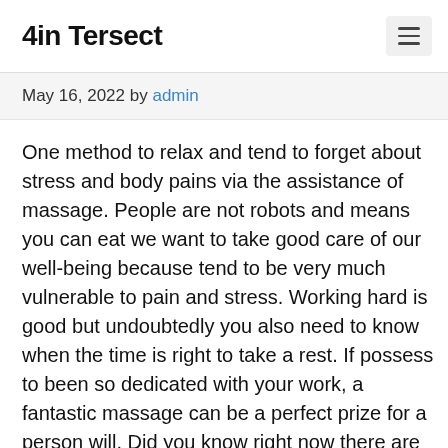4in Tersect
May 16, 2022 by admin
One method to relax and tend to forget about stress and body pains via the assistance of massage. People are not robots and means you can eat we want to take good care of our well-being because tend to be very much vulnerable to pain and stress. Working hard is good but undoubtedly you also need to know when the time is right to take a rest. If possess to been so dedicated with your work, a fantastic massage can be a perfect prize for a person will. Did you know right now there are